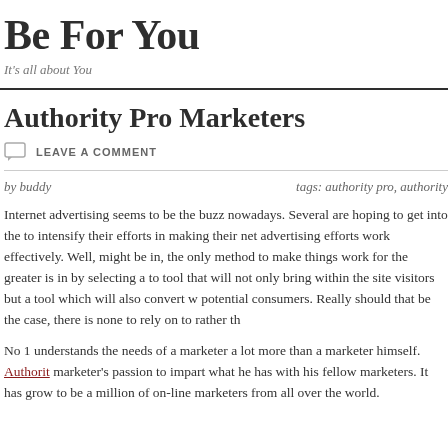Be For You
It's all about You
Authority Pro Marketers
LEAVE A COMMENT
by buddy   tags: authority pro, authority
Internet advertising seems to be the buzz nowadays. Several are hoping to get into the to intensify their efforts in making their net advertising efforts work effectively. Well, might be in, the only method to make things work for the greater is in by selecting a to tool that will not only bring within the site visitors but a tool which will also convert w potential consumers. Really should that be the case, there is none to rely on to rather th
No 1 understands the needs of a marketer a lot more than a marketer himself. Authorit marketer's passion to impart what he has with his fellow marketers. It has grow to be a million of on-line marketers from all over the world.